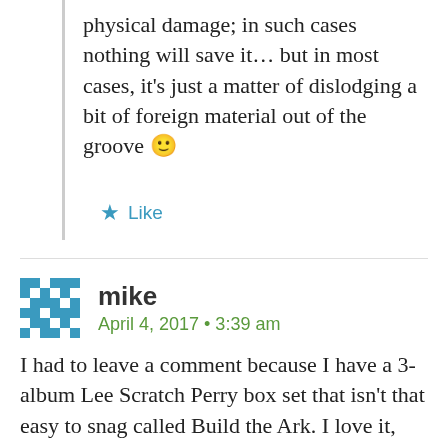physical damage; in such cases nothing will save it… but in most cases, it's just a matter of dislodging a bit of foreign material out of the groove 🙂
★ Like
mike
April 4, 2017 • 3:39 am
I had to leave a comment because I have a 3-album Lee Scratch Perry box set that isn't that easy to snag called Build the Ark. I love it, but one song at the end of side 1 skipped. It drove me nuts and of course I started avoided playing the first album of the set,